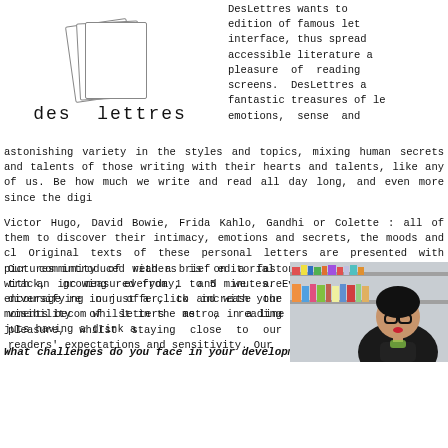[Figure (logo): DesLettres logo: stacked playing-card style pages with 'des lettres' in monospace text below]
DesLettres wants to edition of famous let interface, thus spread accessible literature a pleasure of reading screens. DesLettres a fantastic treasures of le emotions, sense and astonishing variety in the styles and topics, mixing human secrets and talents of those writing with their hearts and talents, like any of us. Be how much we write and read all day long, and even more since the digi
Victor Hugo, David Bowie, Frida Kahlo, Gandhi or Colette : all of them to discover their intimacy, emotions and secrets, the moods and c Original texts of these personal letters are presented with pictures introduced with a brief editorial on the context, and timed with an inc measured from 1 to 5 minutes. Everything is designed to encourage re in just a click and with your smartphone, your waiting moments becom whilst in the metro, in a line or in a waiting room, or juts having a drink a
What challenges do you face in your development?
Our community of readers is on a fast track, growing everyday, and we are diversifying our offer, to increase the visibility of letters as a reading pleasure, whilst staying close to our readers' expectations and sensitivity. Our
[Figure (photo): Photo of a person with dark hair, glasses, and red lipstick, seated in front of bookshelves]